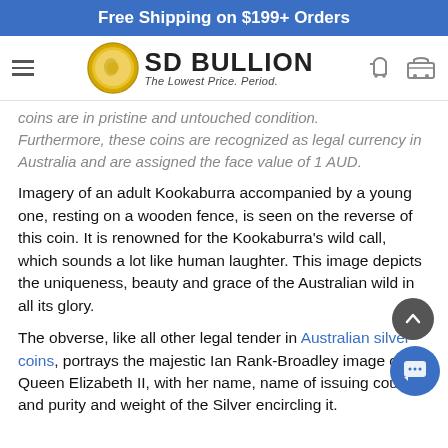Free Shipping on $199+ Orders
[Figure (logo): SD Bullion logo with coin image and tagline 'The Lowest Price. Period.']
coins are in pristine and untouched condition. Furthermore, these coins are recognized as legal currency in Australia and are assigned the face value of 1 AUD.
Imagery of an adult Kookaburra accompanied by a young one, resting on a wooden fence, is seen on the reverse of this coin. It is renowned for the Kookaburra's wild call, which sounds a lot like human laughter. This image depicts the uniqueness, beauty and grace of the Australian wild in all its glory.
The obverse, like all other legal tender in Australian silver coins, portrays the majestic Ian Rank-Broadley image of Queen Elizabeth II, with her name, name of issuing country and purity and weight of the Silver encircling it.